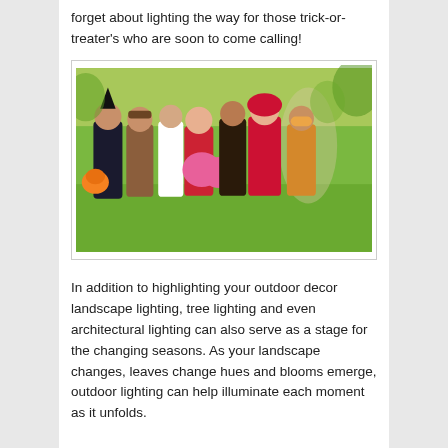forget about lighting the way for those trick-or-treater's who are soon to come calling!
[Figure (photo): Group of children in Halloween costumes outdoors, holding pumpkin buckets and decorations, smiling at camera]
In addition to highlighting your outdoor decor landscape lighting, tree lighting and even architectural lighting can also serve as a stage for the changing seasons. As your landscape changes, leaves change hues and blooms emerge, outdoor lighting can help illuminate each moment as it unfolds.